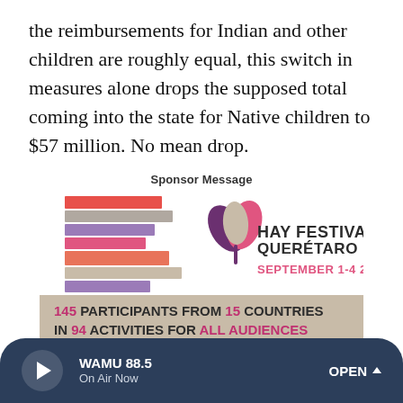the reimbursements for Indian and other children are roughly equal, this switch in measures alone drops the supposed total coming into the state for Native children to $57 million. No mean drop.
Sponsor Message
[Figure (illustration): Hay Festival Querétaro advertisement. Left side shows a stack of colorful horizontal book-spine rectangles in red/salmon, gray, purple, pink, salmon/orange, beige/tan, and purple/lilac. Right side shows the Hay Festival logo (heart-shaped flower made of overlapping petals in dark purple, pink, and beige/tan), with text: HAY FESTIVAL QUERÉTARO in dark gray uppercase, SEPTEMBER 1-4 2022 in pink/red uppercase. Below a tan/beige banner reads: 145 PARTICIPANTS FROM 15 COUNTRIES IN 94 ACTIVITIES FOR ALL AUDIENCES (with numbers in bold dark pink/magenta). Bottom strip in purple: MEDIA PARTNER on left, FULL PROGRAM on right.]
WAMU 88.5 On Air Now